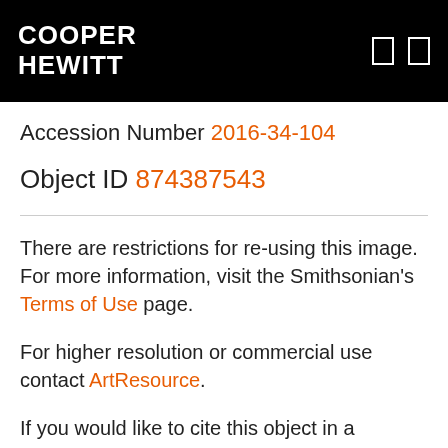COOPER HEWITT
Accession Number 2016-34-104
Object ID 874387543
There are restrictions for re-using this image. For more information, visit the Smithsonian's Terms of Use page.
For higher resolution or commercial use contact ArtResource.
If you would like to cite this object in a Wikipedia